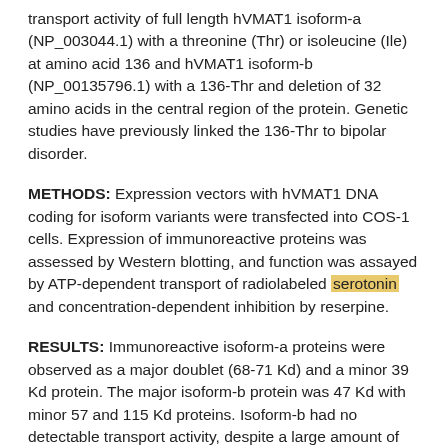transport activity of full length hVMAT1 isoform-a (NP_003044.1) with a threonine (Thr) or isoleucine (Ile) at amino acid 136 and hVMAT1 isoform-b (NP_00135796.1) with a 136-Thr and deletion of 32 amino acids in the central region of the protein. Genetic studies have previously linked the 136-Thr to bipolar disorder.
METHODS: Expression vectors with hVMAT1 DNA coding for isoform variants were transfected into COS-1 cells. Expression of immunoreactive proteins was assessed by Western blotting, and function was assayed by ATP-dependent transport of radiolabeled serotonin and concentration-dependent inhibition by reserpine.
RESULTS: Immunoreactive isoform-a proteins were observed as a major doublet (68-71 Kd) and a minor 39 Kd protein. The major isoform-b protein was 47 Kd with minor 57 and 115 Kd proteins. Isoform-b had no detectable transport activity, despite a large amount of immunoreactive protein. Transport activity of isoform-a with 136-Thr was 20-50% lower than with